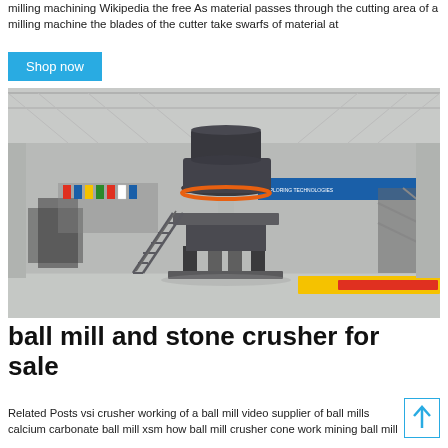milling machining Wikipedia the free As material passes through the cutting area of a milling machine the blades of the cutter take swarfs of material at
Shop now
[Figure (photo): Large industrial cone crusher machine on display in a factory exhibition hall. The machine is dark gray/black colored with a cylindrical top and stands on four legs with a metal staircase. The interior of the hall has a white steel-truss roof, concrete columns, and colorful flags/banners in the background including a blue banner with yellow and red text.]
ball mill and stone crusher for sale
Related Posts vsi crusher working of a ball mill video supplier of ball mills calcium carbonate ball mill xsm how ball mill crusher cone work mining ball mill